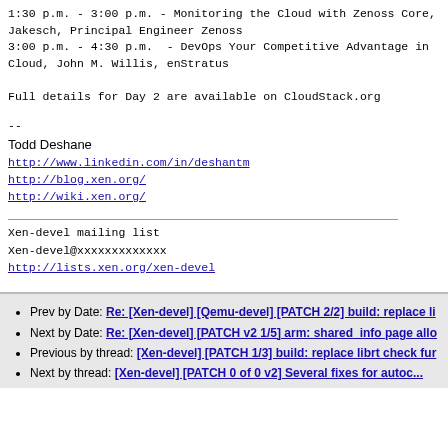1:30 p.m. - 3:00 p.m. - Monitoring the Cloud with Zenoss Core, Jakesch, Principal Engineer Zenoss
3:00 p.m. - 4:30 p.m.  - DevOps Your Competitive Advantage in Cloud, John M. Willis, enStratus

Full details for Day 2 are available on CloudStack.org
--
Todd Deshane
http://www.linkedin.com/in/deshantm
http://blog.xen.org/
http://wiki.xen.org/
Xen-devel mailing list
Xen-devel@xxxxxxxxxxxxx
http://lists.xen.org/xen-devel
Prev by Date: Re: [Xen-devel] [Qemu-devel] [PATCH 2/2] build: replace li
Next by Date: Re: [Xen-devel] [PATCH v2 1/5] arm: shared_info page allo
Previous by thread: [Xen-devel] [PATCH 1/3] build: replace librt check fur
Next by thread: [Xen-devel] [PATCH 0 of 0 v2] Several fixes for autoc...